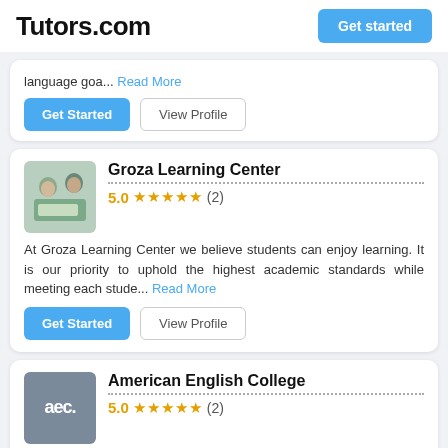Tutors.com
language goa... Read More
Get Started | View Profile
Groza Learning Center
5.0 ★★★★★ (2)
At Groza Learning Center we believe students can enjoy learning. It is our priority to uphold the highest academic standards while meeting each stude... Read More
Get Started | View Profile
American English College
5.0 ★★★★★ (2)